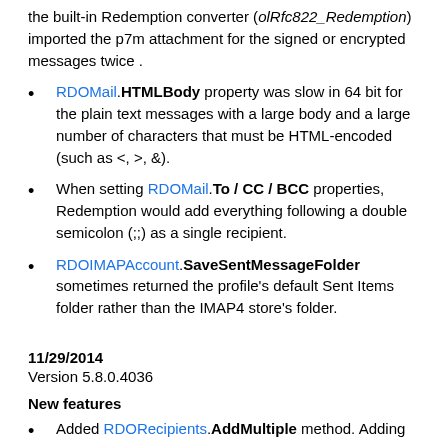the built-in Redemption converter (olRfc822_Redemption) imported the p7m attachment for the signed or encrypted messages twice .
RDOMail.HTMLBody property was slow in 64 bit for the plain text messages with a large body and a large number of characters that must be HTML-encoded (such as <, >, &).
When setting RDOMail.To / CC / BCC properties, Redemption would add everything following a double semicolon (;;) as a single recipient.
RDOIMAPAccount.SaveSentMessageFolder sometimes returned the profile's default Sent Items folder rather than the IMAP4 store's folder.
11/29/2014
Version 5.8.0.4036
New features
Added RDORecipients.AddMultiple method. Adding